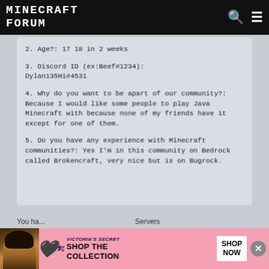MINECRAFT FORUM
2. Age?: 17 18 in 2 weeks

3. Discord ID (ex:Beef#1234): Dylan135Hi#4531

4. Why do you want to be apart of our community?: Because I would like some people to play Java Minecraft with because none of my friends have it except for one of them.

5. Do you have any experience with Minecraft communities?: Yes I'm in this community on Bedrock called Brokencraft, very nice but is on Bugrock.
You ha...
[Figure (photo): Victoria's Secret advertisement banner with woman photo, VS logo, SHOP THE COLLECTION text, and SHOP NOW button with close X button]